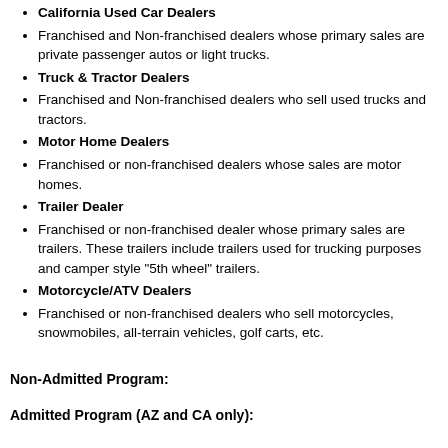California Used Car Dealers
Franchised and Non-franchised dealers whose primary sales are private passenger autos or light trucks.
Truck & Tractor Dealers
Franchised and Non-franchised dealers who sell used trucks and tractors.
Motor Home Dealers
Franchised or non-franchised dealers whose sales are motor homes.
Trailer Dealer
Franchised or non-franchised dealer whose primary sales are trailers. These trailers include trailers used for trucking purposes and camper style "5th wheel" trailers.
Motorcycle/ATV Dealers
Franchised or non-franchised dealers who sell motorcycles, snowmobiles, all-terrain vehicles, golf carts, etc.
Non-Admitted Program:
Admitted Program (AZ and CA only):